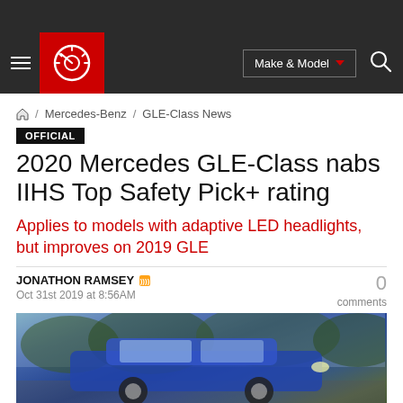Autoblog navigation header with logo, Make & Model selector, and search
⌂ / Mercedes-Benz / GLE-Class News
OFFICIAL
2020 Mercedes GLE-Class nabs IIHS Top Safety Pick+ rating
Applies to models with adaptive LED headlights, but improves on 2019 GLE
JONATHON RAMSEY
Oct 31st 2019 at 8:56AM
0 comments
[Figure (photo): Blue Mercedes GLE-Class SUV driving on a road with trees in background]